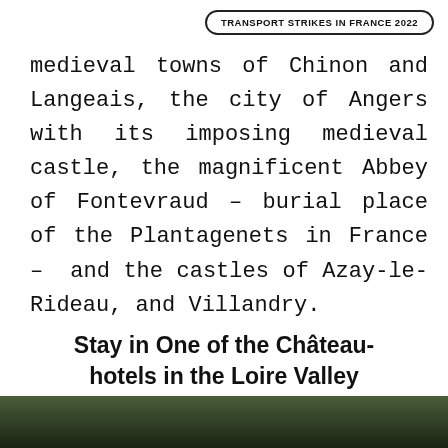TRANSPORT STRIKES IN FRANCE 2022
medieval towns of Chinon and Langeais, the city of Angers with its imposing medieval castle, the magnificent Abbey of Fontevraud – burial place of the Plantagenets in France – and the castles of Azay-le-Rideau, and Villandry.
Stay in One of the Château-hotels in the Loire Valley
[Figure (photo): Partial view of a château or landscape in the Loire Valley, showing trees and greenery at the bottom of the page.]